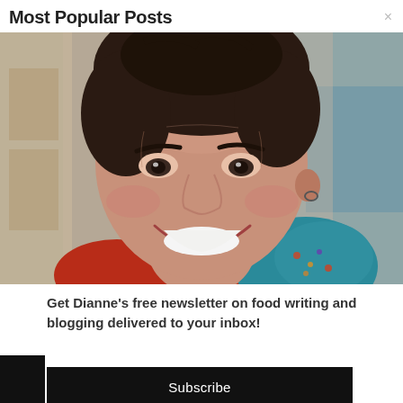Most Popular Posts
×
[Figure (photo): Close-up portrait of a smiling middle-aged woman with short dark hair, wearing a colorful patterned scarf in blue, red, and orange tones. Background is blurred with warm beige/brown tones.]
Get Dianne's free newsletter on food writing and blogging delivered to your inbox!
Subscribe